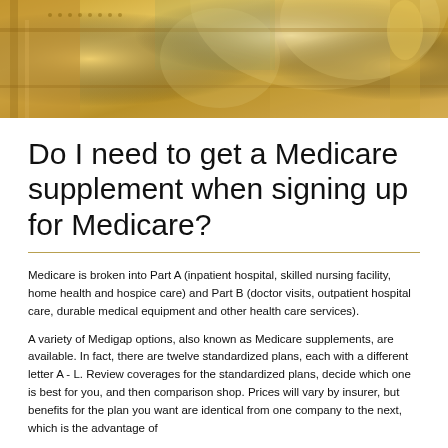[Figure (photo): Decorative architectural photo showing ornate golden ceiling or dome with classical architectural details, columns and painted surfaces]
Do I need to get a Medicare supplement when signing up for Medicare?
Medicare is broken into Part A (inpatient hospital, skilled nursing facility, home health and hospice care) and Part B (doctor visits, outpatient hospital care, durable medical equipment and other health care services).
A variety of Medigap options, also known as Medicare supplements, are available. In fact, there are twelve standardized plans, each with a different letter A - L. Review coverages for the standardized plans, decide which one is best for you, and then comparison shop. Prices will vary by insurer, but benefits for the plan you want are identical from one company to the next, which is the advantage of